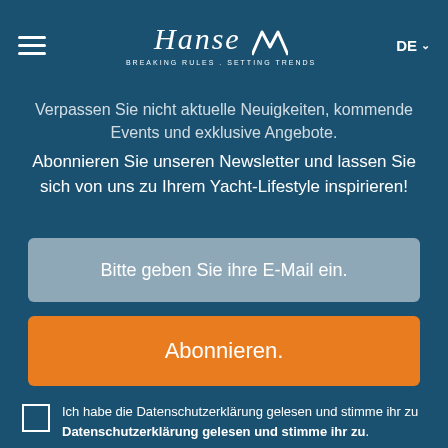Hanse — BREAKING RULES . SETTING TRENDS — DE
Verpassen Sie nicht aktuelle Neuigkeiten, kommende Events und exklusive Angebote. Abonnieren Sie unseren Newsletter und lassen Sie sich von uns zu Ihrem Yacht-Lifestyle inspirieren!
Bitte geben Sie ihre E-Mail ein.
Abonnieren.
Ich habe die Datenschutzerklärung gelesen und stimme ihr zu Datenschutzerklärung gelesen und stimme ihr zu.